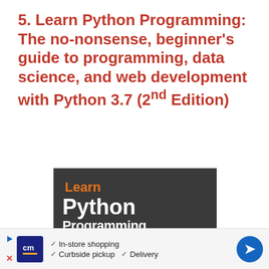5. Learn Python Programming: The no-nonsense, beginner's guide to programming, data science, and web development with Python 3.7 (2nd Edition)
[Figure (illustration): Book cover of 'Learn Python Programming, Second Edition' by Packt. Dark gray background with orange 'Learn' text, large white 'Python Programming' title, orange banner with subtitle text, and snake imagery at the bottom.]